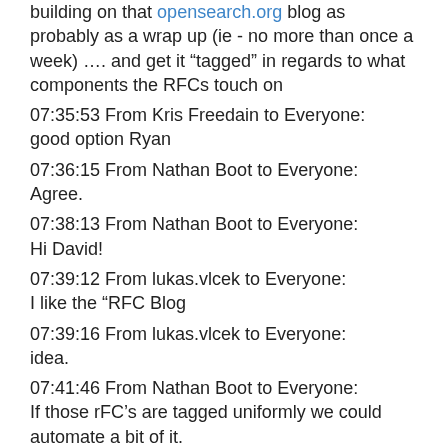building on that opensearch.org blog as probably as a wrap up (ie - no more than once a week) …. and get it “tagged” in regards to what components the RFCs touch on
07:35:53 From Kris Freedain to Everyone:
good option Ryan
07:36:15 From Nathan Boot to Everyone:
Agree.
07:38:13 From Nathan Boot to Everyone:
Hi David!
07:39:12 From lukas.vlcek to Everyone:
I like the “RFC Blog
07:39:16 From lukas.vlcek to Everyone:
idea.
07:41:46 From Nathan Boot to Everyone:
If those rFC’s are tagged uniformly we could automate a bit of it.
07:43:02 From Nathan Boot to Everyone:
10 RFC’s commented on = free opensearch